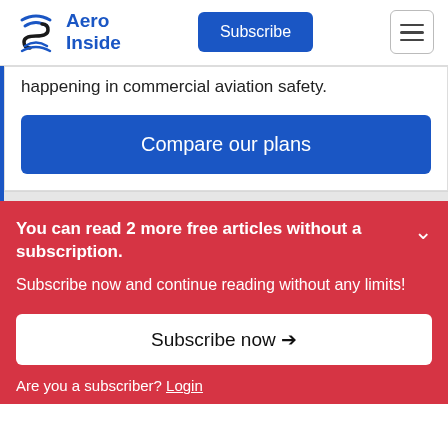Aero Inside
happening in commercial aviation safety.
Compare our plans
You can read 2 more free articles without a subscription.
Subscribe now and continue reading without any limits!
Subscribe now →
Are you a subscriber? Login